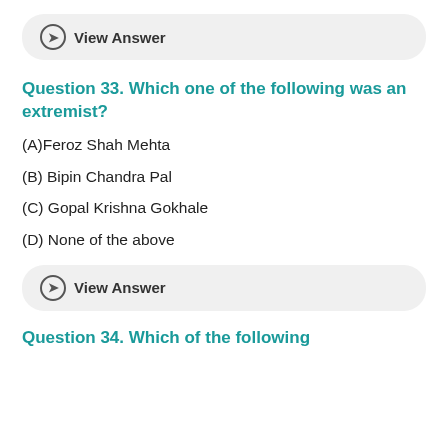View Answer
Question 33. Which one of the following was an extremist?
(A)Feroz Shah Mehta
(B) Bipin Chandra Pal
(C) Gopal Krishna Gokhale
(D) None of the above
View Answer
Question 34. Which of the following